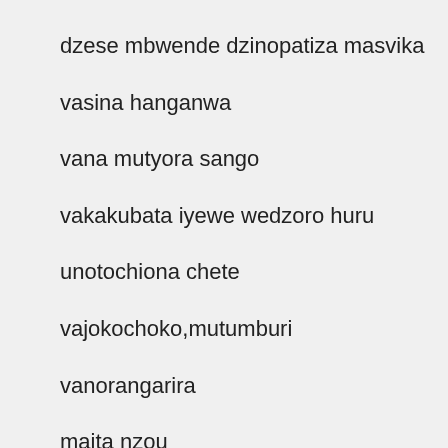dzese mbwende dzinopatiza masvika
vasina hanganwa
vana mutyora sango
vakakubata iyewe wedzoro huru
unotochiona chete
vajokochoko,mutumburi
vanorangarira
maita nzou
machengeta sango